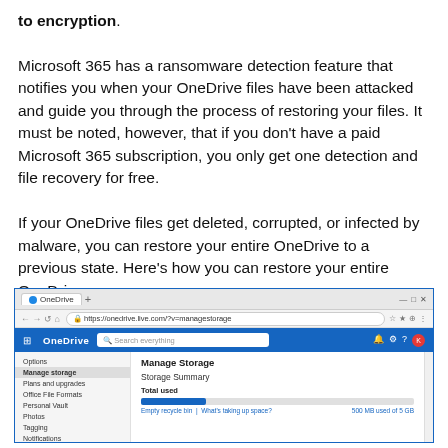to encryption. Microsoft 365 has a ransomware detection feature that notifies you when your OneDrive files have been attacked and guide you through the process of restoring your files. It must be noted, however, that if you don't have a paid Microsoft 365 subscription, you only get one detection and file recovery for free.
If your OneDrive files get deleted, corrupted, or infected by malware, you can restore your entire OneDrive to a previous state. Here's how you can restore your entire OneDrive:
[Figure (screenshot): Screenshot of OneDrive web interface showing the Manage Storage page with Storage Summary and a blue usage bar. The browser tab shows OneDrive at https://onedrive.live.com/?v=managestorage. Left sidebar shows menu items including Options, Manage storage (active), Plans and upgrades, Office File Formats, Personal Vault, Photos, Tagging, Notifications, Device backups.]